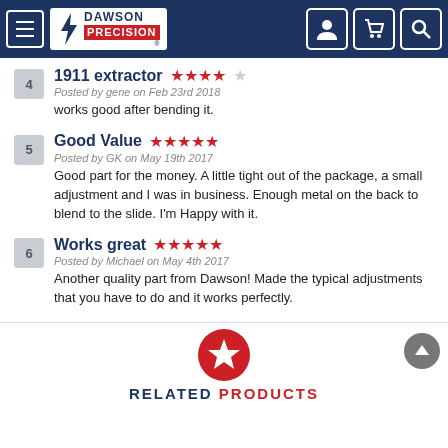Dawson Precision - site header with navigation
4 - 1911 extractor - 4 out of 5 stars - Posted by gene on Feb 23rd 2018 - works good after bending it.
5 - Good Value - 5 out of 5 stars - Posted by GK on May 19th 2017 - Good part for the money. A little tight out of the package, a small adjustment and I was in business. Enough metal on the back to blend to the slide. I&#039;m Happy with it.
6 - Works great - 5 out of 5 stars - Posted by Michael on May 4th 2017 - Another quality part from Dawson! Made the typical adjustments that you have to do and it works perfectly.
RELATED PRODUCTS